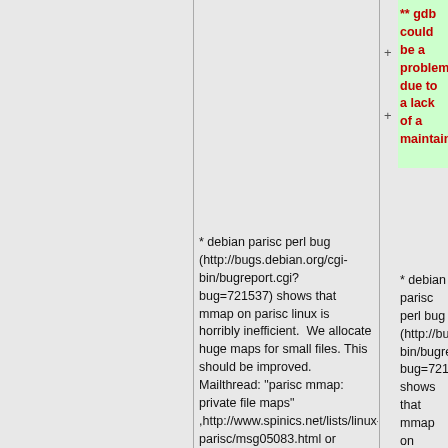** gdb could be a problem due to a lack of a maintainer.
* debian parisc perl bug (http://bugs.debian.org/cgi-bin/bugreport.cgi?bug=721537) shows that mmap on parisc linux is horribly inefficient.  We allocate huge maps for small files. This should be improved. Mailthread: "parisc mmap: private file maps" ,http://www.spinics.net/lists/linux-parisc/msg05083.html or https://rt.perl.org/Public/Bug/Display.html?id=119567
* debian parisc perl bug (http://bugs.debian.org/cgi-bin/bugreport.cgi?bug=721537) shows that mmap on parisc linux is horribly inefficient.  We allocate huge maps for small files. This should be improved. Mailthread: "parisc mmap: private file maps" ,http://www.spinics.net/lists/linux-parisc/msg05083.html or https://rt.perl.org/Public/Bug/Display.html?id=119567